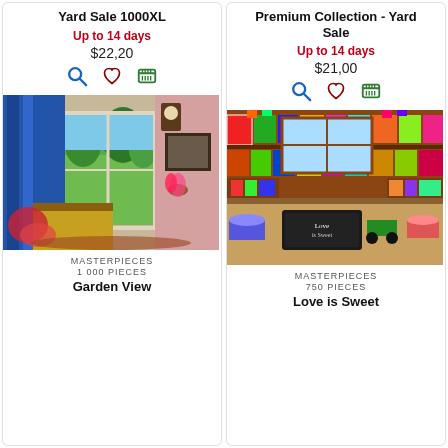Yard Sale 1000XL
Up to 14 days
$22,20
[Figure (photo): Garden View puzzle image - interior room with glass door opening to garden, piano, curtains]
MASTERPIECES
1 000 PIECES
Garden View
Premium Collection - Yard Sale
Up to 14 days
$21,00
[Figure (photo): Love is Sweet puzzle image - colorful candy shop interior with shelves of candy jars and products]
MASTERPIECES
750 PIECES
Love is Sweet